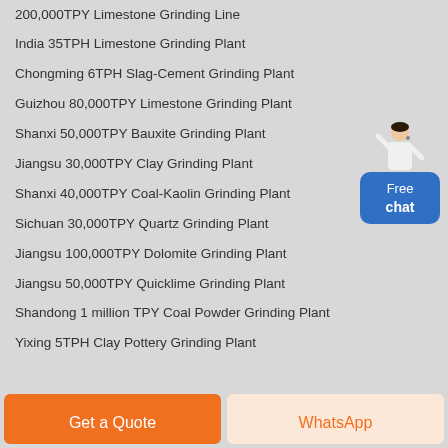200,000TPY Limestone Grinding Line
India 35TPH Limestone Grinding Plant
Chongming 6TPH Slag-Cement Grinding Plant
Guizhou 80,000TPY Limestone Grinding Plant
Shanxi 50,000TPY Bauxite Grinding Plant
Jiangsu 30,000TPY Clay Grinding Plant
Shanxi 40,000TPY Coal-Kaolin Grinding Plant
Sichuan 30,000TPY Quartz Grinding Plant
Jiangsu 100,000TPY Dolomite Grinding Plant
Jiangsu 50,000TPY Quicklime Grinding Plant
Shandong 1 million TPY Coal Powder Grinding Plant
Yixing 5TPH Clay Pottery Grinding Plant
[Figure (illustration): Customer service representative figure above a blue Free chat button widget]
Get a Quote
WhatsApp